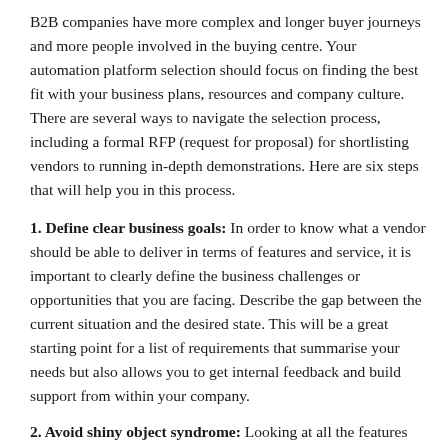B2B companies have more complex and longer buyer journeys and more people involved in the buying centre. Your automation platform selection should focus on finding the best fit with your business plans, resources and company culture. There are several ways to navigate the selection process, including a formal RFP (request for proposal) for shortlisting vendors to running in-depth demonstrations. Here are six steps that will help you in this process.
1. Define clear business goals: In order to know what a vendor should be able to deliver in terms of features and service, it is important to clearly define the business challenges or opportunities that you are facing. Describe the gap between the current situation and the desired state. This will be a great starting point for a list of requirements that summarise your needs but also allows you to get internal feedback and build support from within your company.
2. Avoid shiny object syndrome: Looking at all the features